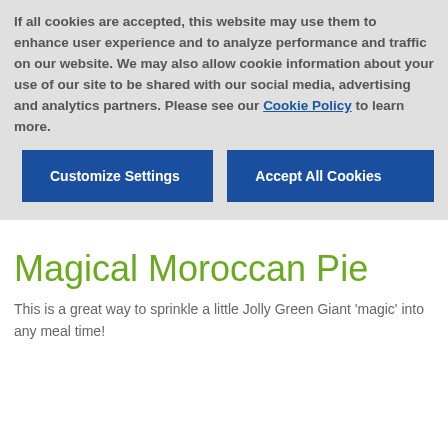If all cookies are accepted, this website may use them to enhance user experience and to analyze performance and traffic on our website. We may also allow cookie information about your use of our site to be shared with our social media, advertising and analytics partners. Please see our Cookie Policy to learn more.
Customize Settings
Accept All Cookies
Magical Moroccan Pie
This is a great way to sprinkle a little Jolly Green Giant 'magic' into any meal time!